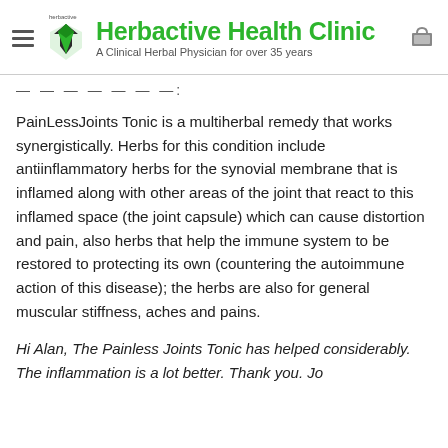Herbactive Health Clinic — A Clinical Herbal Physician for over 35 years
PainLessJoints Tonic is a multiherbal remedy that works synergistically. Herbs for this condition include antiinflammatory herbs for the synovial membrane that is inflamed along with other areas of the joint that react to this inflamed space (the joint capsule) which can cause distortion and pain, also herbs that help the immune system to be restored to protecting its own (countering the autoimmune action of this disease); the herbs are also for general muscular stiffness, aches and pains.
Hi Alan, The Painless Joints Tonic has helped considerably. The inflammation is a lot better. Thank you. Jo